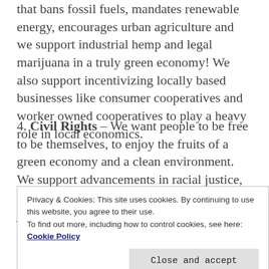that bans fossil fuels, mandates renewable energy, encourages urban agriculture and we support industrial hemp and legal marijuana in a truly green economy! We also support incentivizing locally based businesses like consumer cooperatives and worker owned cooperatives to play a heavy role in local economics.
4. Civil Rights – We want people to be free to be themselves, to enjoy the fruits of a green economy and a clean environment. We support advancements in racial justice, ending police brutality, reforming criminal justice, respecting the space of marginalized communities, ensuring all women's rights & protecting our queer & trans siblings from discrimination.
Privacy & Cookies: This site uses cookies. By continuing to use this website, you agree to their use. To find out more, including how to control cookies, see here: Cookie Policy
districts, and ranked choice voting. We believe the